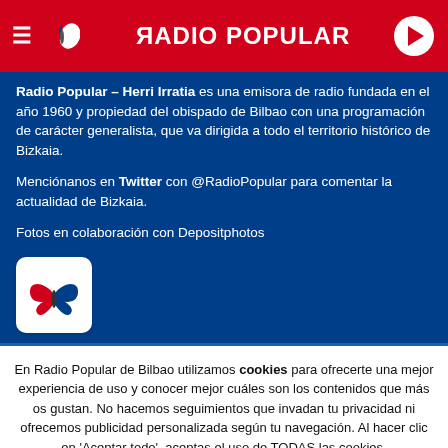RADIO POPULAR
Radio Popular – Herri Irratia es una emisora de radio fundada en el año 1960 y propiedad del obispado de Bilbao con una programación de carácter generalista, que va dirigida a todo el territorio histórico de Bizkaia.
Menciónanos en Twitter con @RadioPopular para comentar la actualidad de Bizkaia.
Fotos en colaboración con Depositphotos
[Figure (logo): Radio Popular butterfly logo on white rounded square background]
En Radio Popular de Bilbao utilizamos cookies para ofrecerte una mejor experiencia de uso y conocer mejor cuáles son los contenidos que más os gustan. No hacemos seguimientos que invadan tu privacidad ni ofrecemos publicidad personalizada según tu navegación. Al hacer clic en 'Aceptar todo', aceptas el uso de TODAS las cookies.
Rechazar y salir | Aceptar todas y continuar | Leer más